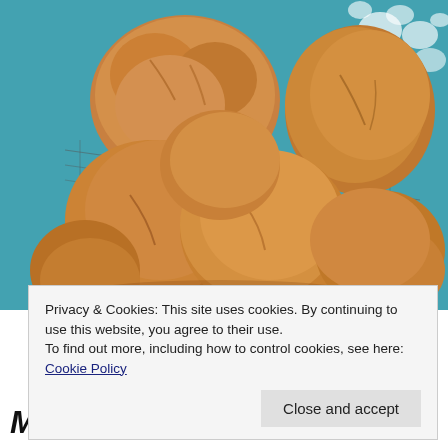[Figure (photo): A basket of golden-brown homemade bread rolls/knots piled together, photographed from above. The basket sits on a teal/blue floral patterned fabric background.]
Privacy & Cookies: This site uses cookies. By continuing to use this website, you agree to their use.
To find out more, including how to control cookies, see here: Cookie Policy
Close and accept
MY SISTER'S AMAZING